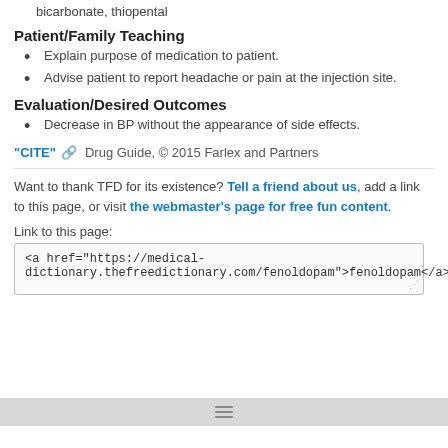bicarbonate, thiopental
Patient/Family Teaching
Explain purpose of medication to patient.
Advise patient to report headache or pain at the injection site.
Evaluation/Desired Outcomes
Decrease in BP without the appearance of side effects.
"CITE" 🔗  Drug Guide, © 2015 Farlex and Partners
Want to thank TFD for its existence? Tell a friend about us, add a link to this page, or visit the webmaster's page for free fun content.
Link to this page:
<a href="https://medical-dictionary.thefreedictionary.com/fenoldopam">fenoldopam</a>